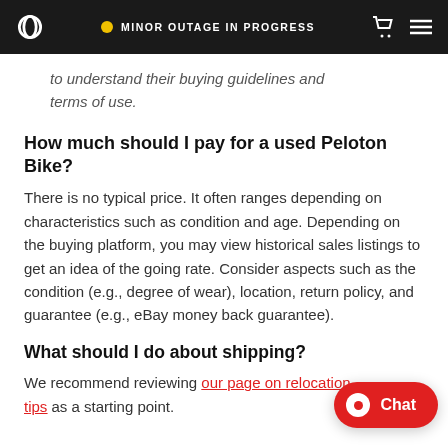MINOR OUTAGE IN PROGRESS
to understand their buying guidelines and terms of use.
How much should I pay for a used Peloton Bike?
There is no typical price. It often ranges depending on characteristics such as condition and age. Depending on the buying platform, you may view historical sales listings to get an idea of the going rate. Consider aspects such as the condition (e.g., degree of wear), location, return policy, and guarantee (e.g., eBay money back guarantee).
What should I do about shipping?
We recommend reviewing our page on relocation tips as a starting point.